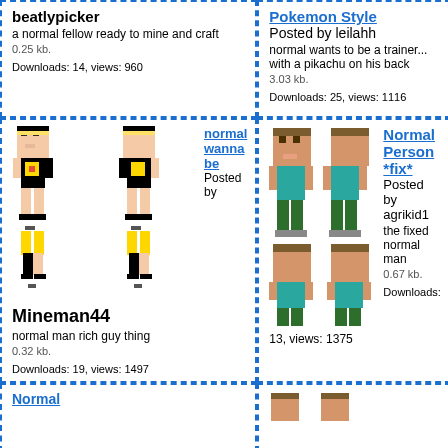beatlypicker
a normal fellow ready to mine and craft
0.25 kb.
Downloads: 14, views: 960
Pokemon Style
Posted by leilahh
normal wants to be a trainer... with a pikachu on his back
3.03 kb.
Downloads: 25, views: 1116
[Figure (illustration): Minecraft skin sprite sheets showing normal wanna be character - front and side views in pixel art]
normal wanna be
Posted by Mineman44
normal man rich guy thing
0.32 kb.
Downloads: 19, views: 1497
[Figure (illustration): Minecraft skin sprite sheets showing Normal Person *fix* character - front and back views in pixel art]
Normal Person *fix*
Posted by agrikid1
the fixed normal man
0.67 kb.
Downloads: 13, views: 1375
Normal
[Figure (illustration): Minecraft skin sprites partially visible at bottom]